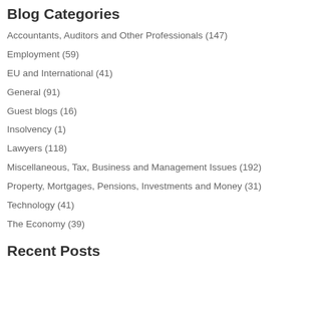Blog Categories
Accountants, Auditors and Other Professionals (147)
Employment (59)
EU and International (41)
General (91)
Guest blogs (16)
Insolvency (1)
Lawyers (118)
Miscellaneous, Tax, Business and Management Issues (192)
Property, Mortgages, Pensions, Investments and Money (31)
Technology (41)
The Economy (39)
Recent Posts